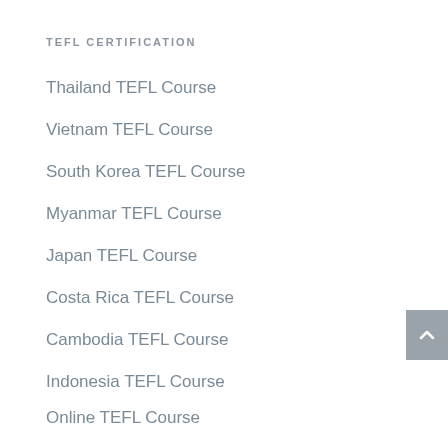TEFL CERTIFICATION
Thailand TEFL Course
Vietnam TEFL Course
South Korea TEFL Course
Myanmar TEFL Course
Japan TEFL Course
Costa Rica TEFL Course
Cambodia TEFL Course
Indonesia TEFL Course
Online TEFL Course
ABOUT